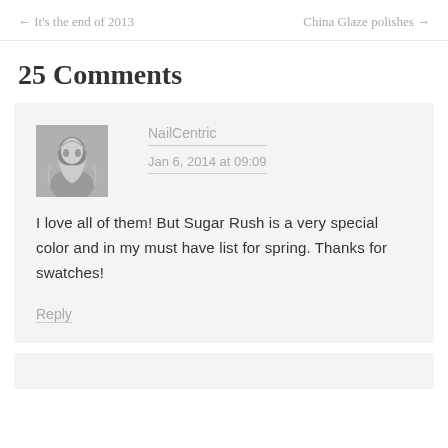← It's the end of 2013    China Glaze polishes →
25 Comments
NailCentric
Jan 6, 2014 at 09:09
I love all of them! But Sugar Rush is a very special color and in my must have list for spring. Thanks for swatches!
Reply